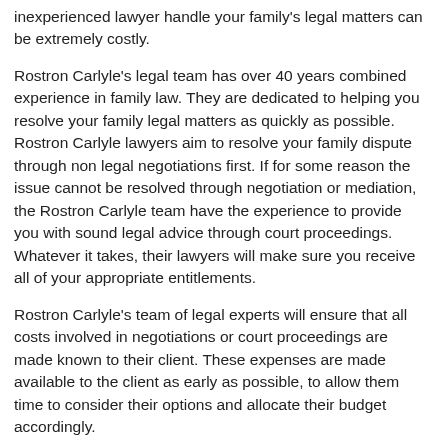inexperienced lawyer handle your family's legal matters can be extremely costly.
Rostron Carlyle's legal team has over 40 years combined experience in family law. They are dedicated to helping you resolve your family legal matters as quickly as possible. Rostron Carlyle lawyers aim to resolve your family dispute through non legal negotiations first. If for some reason the issue cannot be resolved through negotiation or mediation, the Rostron Carlyle team have the experience to provide you with sound legal advice through court proceedings. Whatever it takes, their lawyers will make sure you receive all of your appropriate entitlements.
Rostron Carlyle's team of legal experts will ensure that all costs involved in negotiations or court proceedings are made known to their client. These expenses are made available to the client as early as possible, to allow them time to consider their options and allocate their budget accordingly.